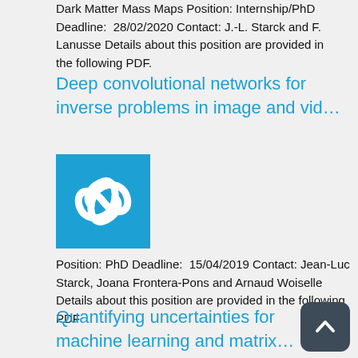Dark Matter Mass Maps Position: Internship/PhD Deadline: 28/02/2020 Contact: J.-L. Starck and F. Lanusse Details about this position are provided in the following PDF.
Deep convolutional networks for inverse problems in image and vid…
[Figure (logo): Blue square logo with two interlocking spiral/swirl shapes in white, representing a scientific or academic organization.]
Position: PhD Deadline: 15/04/2019 Contact: Jean-Luc Starck, Joana Frontera-Pons and Arnaud Woiselle Details about this position are provided in the following PDF
Quantifying uncertainties for machine learning and matrix…